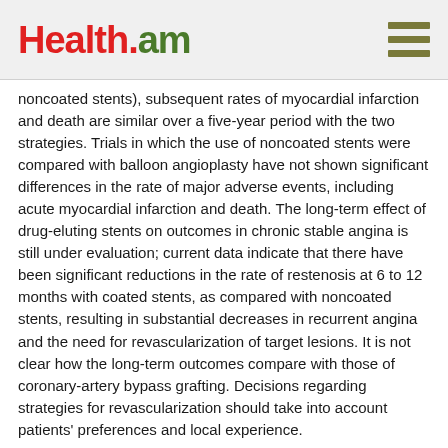Health.am
noncoated stents), subsequent rates of myocardial infarction and death are similar over a five-year period with the two strategies. Trials in which the use of noncoated stents were compared with balloon angioplasty have not shown significant differences in the rate of major adverse events, including acute myocardial infarction and death. The long-term effect of drug-eluting stents on outcomes in chronic stable angina is still under evaluation; current data indicate that there have been significant reductions in the rate of restenosis at 6 to 12 months with coated stents, as compared with noncoated stents, resulting in substantial decreases in recurrent angina and the need for revascularization of target lesions. It is not clear how the long-term outcomes compare with those of coronary-artery bypass grafting. Decisions regarding strategies for revascularization should take into account patients' preferences and local experience.
Cardioprotective Therapy versus Percutaneous Intervention